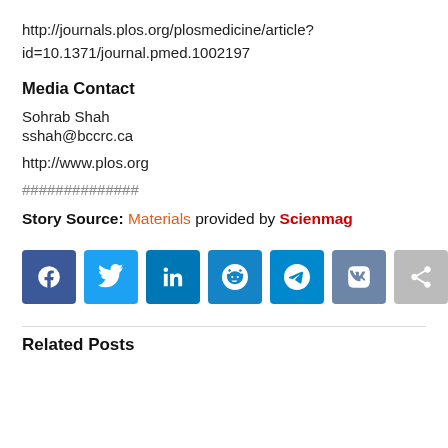http://journals.plos.org/plosmedicine/article?id=10.1371/journal.pmed.1002197
Media Contact
Sohrab Shah
sshah@bccrc.ca
http://www.plos.org
##############
Story Source: Materials provided by Scienmag
[Figure (other): Social media share buttons: Facebook, Twitter, LinkedIn, Reddit, Telegram, VK, Share]
Related Posts